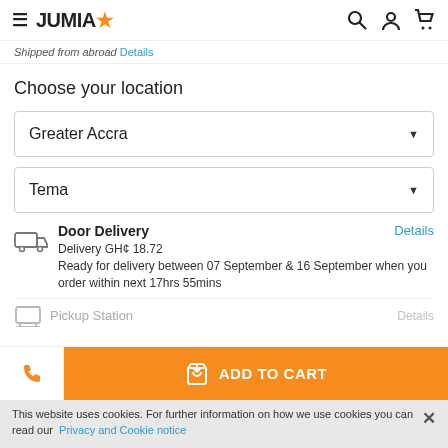JUMIA
Shipped from abroad Details
Choose your location
Greater Accra
Tema
Door Delivery Details
Delivery GH¢ 18.72
Ready for delivery between 07 September & 16 September when you order within next 17hrs 55mins
Pickup Station Details
ADD TO CART
This website uses cookies. For further information on how we use cookies you can read our Privacy and Cookie notice